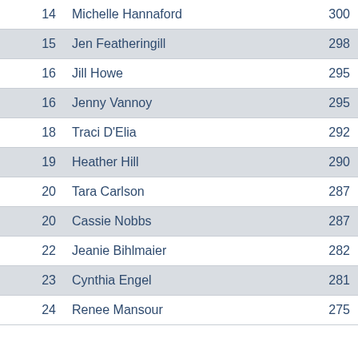| Rank | Name | Score |
| --- | --- | --- |
| 14 | Michelle Hannaford | 300 |
| 15 | Jen Featheringill | 298 |
| 16 | Jill Howe | 295 |
| 16 | Jenny Vannoy | 295 |
| 18 | Traci D'Elia | 292 |
| 19 | Heather Hill | 290 |
| 20 | Tara Carlson | 287 |
| 20 | Cassie Nobbs | 287 |
| 22 | Jeanie Bihlmaier | 282 |
| 23 | Cynthia Engel | 281 |
| 24 | Renee Mansour | 275 |